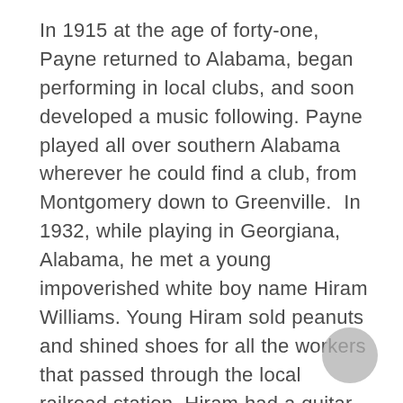In 1915 at the age of forty-one, Payne returned to Alabama, began performing in local clubs, and soon developed a music following. Payne played all over southern Alabama wherever he could find a club, from Montgomery down to Greenville.  In 1932, while playing in Georgiana, Alabama, he met a young impoverished white boy name Hiram Williams. Young Hiram sold peanuts and shined shoes for all the workers that passed through the local railroad station. Hiram had a guitar but could not play it well. He asked Payne to teach him, and Payne began working with the budding musician. Although Hiram and his mother moved from place to